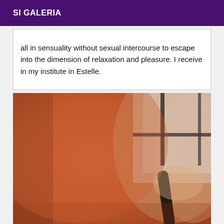SI GALERIA
all in sensuality without sexual intercourse to escape into the dimension of relaxation and pleasure. I receive in my institute in Estelle.
[Figure (photo): A blurry close-up photograph showing warm orange/skin tones with a dark object in the foreground and a window with curtains and dark frame in the background.]